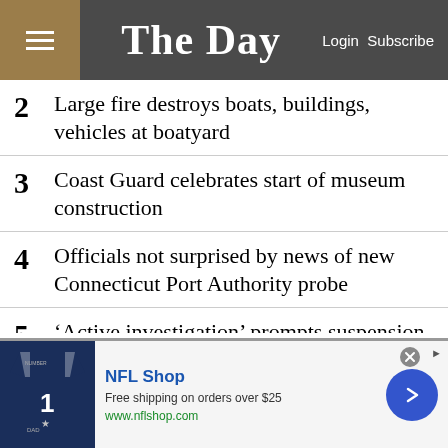The Day | Login Subscribe
2  Large fire destroys boats, buildings, vehicles at boatyard
3  Coast Guard celebrates start of museum construction
4  Officials not surprised by news of new Connecticut Port Authority probe
5  ‘Active investigation’ prompts suspension of state police detective
[Figure (infographic): NFL Shop advertisement banner with Dallas Cowboys jersey image, text 'NFL Shop, Free shipping on orders over $25, www.nflshop.com', a blue circular arrow button, and a close X button.]